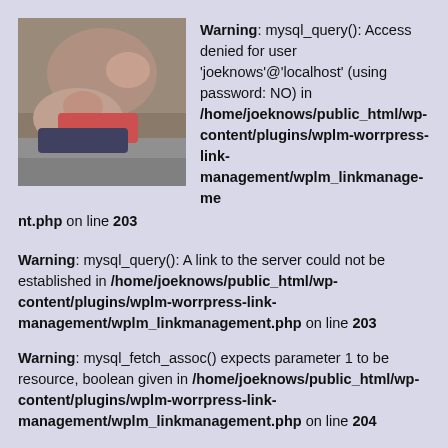[Figure (photo): Two people lying on a bed together, one with a tattoo on their arm.]
Warning: mysql_query(): Access denied for user 'joeknows'@'localhost' (using password: NO) in /home/joeknows/public_html/wp-content/plugins/wplm-worrpress-link-management/wplm_linkmanagement.php on line 203
Warning: mysql_query(): A link to the server could not be established in /home/joeknows/public_html/wp-content/plugins/wplm-worrpress-link-management/wplm_linkmanagement.php on line 203
Warning: mysql_fetch_assoc() expects parameter 1 to be resource, boolean given in /home/joeknows/public_html/wp-content/plugins/wplm-worrpress-link-management/wplm_linkmanagement.php on line 204